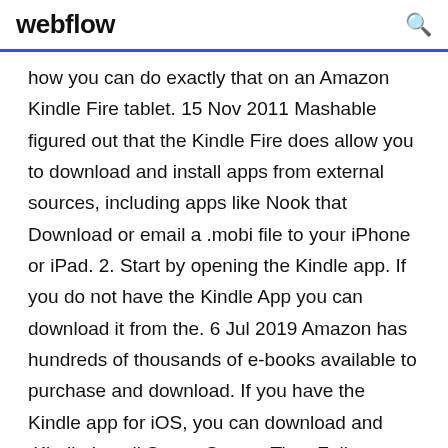webflow
how you can do exactly that on an Amazon Kindle Fire tablet. 15 Nov 2011 Mashable figured out that the Kindle Fire does allow you to download and install apps from external sources, including apps like Nook that Download or email a .mobi file to your iPhone or iPad. 2. Start by opening the Kindle app. If you do not have the Kindle App you can download it from the. 6 Jul 2019 Amazon has hundreds of thousands of e-books available to purchase and download. If you have the Kindle app for iOS, you can download and  Kindle Install Steps. Screen Time Follow these steps to “sideload” the Screen Time onto your child's Kindle device: 1. Download the Screen Time app file.